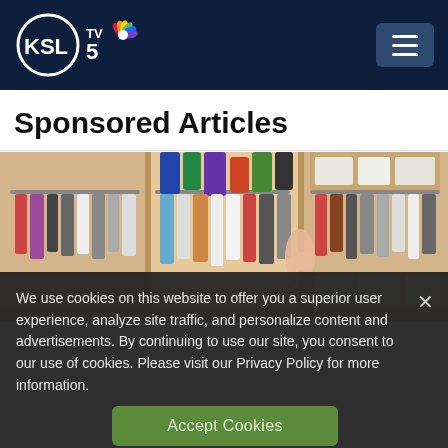KSL TV 5
Sponsored Articles
[Figure (photo): A walk-in closet with clothes hanging on rods, shelving units visible on the sides, and a person reaching into the closet.]
We use cookies on this website to offer you a superior user experience, analyze site traffic, and personalize content and advertisements. By continuing to use our site, you consent to our use of cookies. Please visit our Privacy Policy for more information.
Accept Cookies